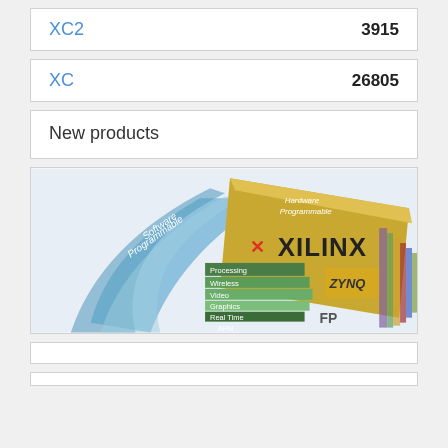XC2   3915
XC   26805
New products
[Figure (photo): Xilinx product promotional image showing 'Software Programmable' and 'Hardware Programmable' cards fanning out with Xilinx logo, listing features: Processing, Wireless, Video, Graphics, Real Time, ARM, FPGA, ZYNQ]